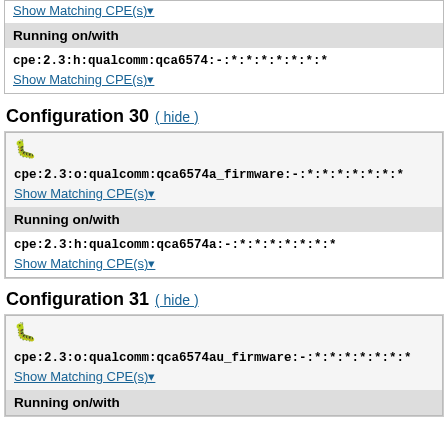Show Matching CPE(s)▾
Running on/with
cpe:2.3:h:qualcomm:qca6574:-:*:*:*:*:*:*:*
Show Matching CPE(s)▾
Configuration 30 ( hide )
cpe:2.3:o:qualcomm:qca6574a_firmware:-:*:*:*:*:*:*:*
Show Matching CPE(s)▾
Running on/with
cpe:2.3:h:qualcomm:qca6574a:-:*:*:*:*:*:*:*
Show Matching CPE(s)▾
Configuration 31 ( hide )
cpe:2.3:o:qualcomm:qca6574au_firmware:-:*:*:*:*:*:*:*
Show Matching CPE(s)▾
Running on/with